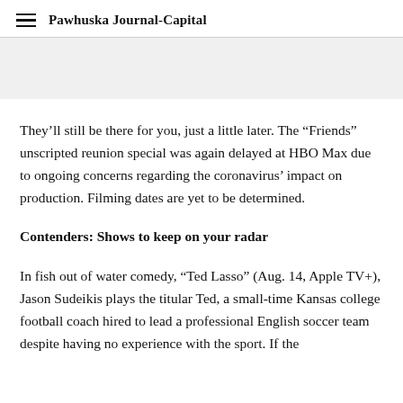Pawhuska Journal-Capital
They’ll still be there for you, just a little later. The “Friends” unscripted reunion special was again delayed at HBO Max due to ongoing concerns regarding the coronavirus’ impact on production. Filming dates are yet to be determined.
Contenders: Shows to keep on your radar
In fish out of water comedy, “Ted Lasso” (Aug. 14, Apple TV+), Jason Sudeikis plays the titular Ted, a small-time Kansas college football coach hired to lead a professional English soccer team despite having no experience with the sport. If the